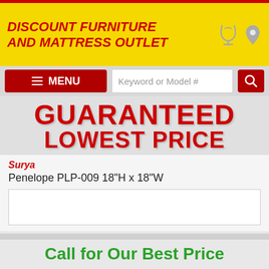[Figure (screenshot): Website header with store logo: DISCOUNT FURNITURE AND MATTRESS OUTLET in red bold italic text on yellow background, with phone and location icons on the right]
[Figure (screenshot): Navigation bar with red MENU button (hamburger icon), search box with placeholder Keyword or Model #, and red search button]
GUARANTEED LOWEST PRICE
Surya
Penelope PLP-009 18"H x 18"W
[Figure (photo): Empty white product image placeholder box]
Call for Our Best Price
- 1 + Request Information